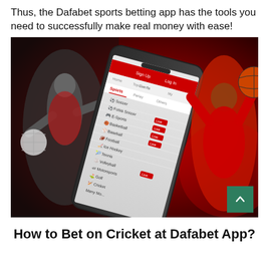Thus, the Dafabet sports betting app has the tools you need to successfully make real money with ease!
[Figure (photo): Promotional image for Dafabet sports betting app showing a smartphone displaying the app interface with sports categories (Soccer, Futsal Soccer, E-sports, Basketball, Baseball, Football, Ice Hockey, Tennis, Volleyball, Motorsports, Golf, Cricket, Many more) alongside athletes including a volleyball player and a basketball player, set against a red background. A green scroll-to-top button is visible in the bottom-right corner.]
How to Bet on Cricket at Dafabet App?